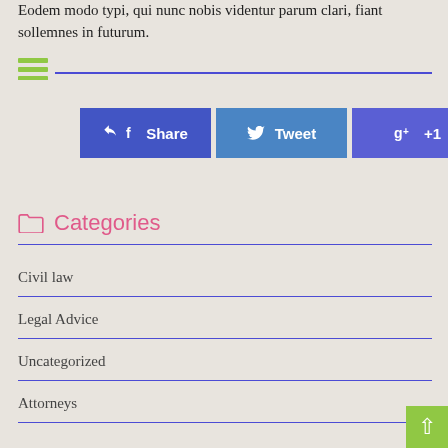Eodem modo typi, qui nunc nobis videntur parum clari, fiant sollemnes in futurum.
[Figure (illustration): Green hamburger menu icon with horizontal lines, followed by a blue horizontal divider line]
[Figure (infographic): Three social sharing buttons side by side: Share (blue), Tweet (light blue), +1 (purple-blue)]
Categories
Civil law
Legal Advice
Uncategorized
Attorneys